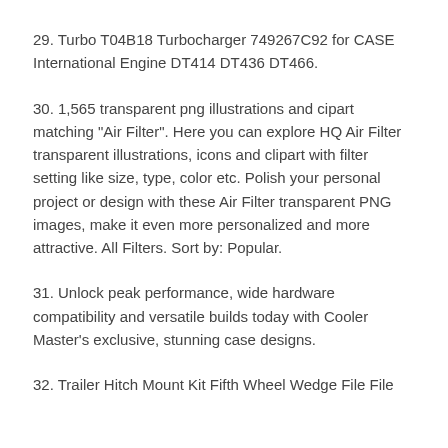29. Turbo T04B18 Turbocharger 749267C92 for CASE International Engine DT414 DT436 DT466.
30. 1,565 transparent png illustrations and cipart matching "Air Filter". Here you can explore HQ Air Filter transparent illustrations, icons and clipart with filter setting like size, type, color etc. Polish your personal project or design with these Air Filter transparent PNG images, make it even more personalized and more attractive. All Filters. Sort by: Popular.
31. Unlock peak performance, wide hardware compatibility and versatile builds today with Cooler Master's exclusive, stunning case designs.
32. Trailer Hitch Mount Kit Fifth Wheel Wedge File File